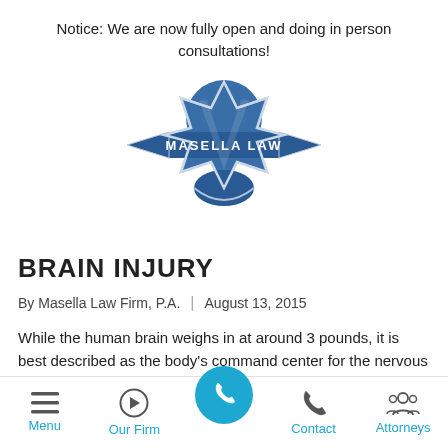Notice: We are now fully open and doing in person consultations!
[Figure (logo): Masella Law firm logo — blue shield/star emblem with ribbon banner reading MASELLA LAW]
BRAIN INJURY
By Masella Law Firm, P.A.  |  August 13, 2015
While the human brain weighs in at around 3 pounds, it is best described as the body's command center for the nervous